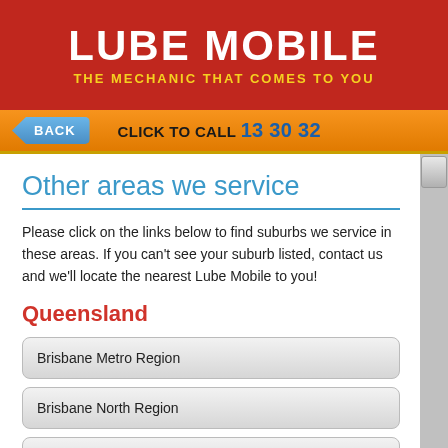LUBE MOBILE
THE MECHANIC THAT COMES TO YOU
BACK   CLICK TO CALL 13 30 32
Other areas we service
Please click on the links below to find suburbs we service in these areas. If you can't see your suburb listed, contact us and we'll locate the nearest Lube Mobile to you!
Queensland
Brisbane Metro Region
Brisbane North Region
Brisbane South Region